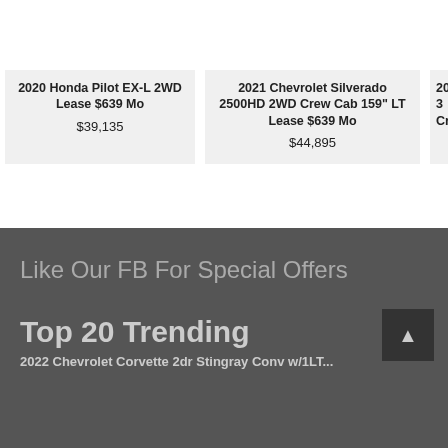[Figure (photo): Three vehicle listing cards side by side. First card shows a 2020 Honda Pilot EX-L 2WD (partial top image visible). Second card shows a 2021 Chevrolet Silverado 2500HD (partial top image visible). Third card is partially cut off.]
2020 Honda Pilot EX-L 2WD Lease $639 Mo
$39,135
2021 Chevrolet Silverado 2500HD 2WD Crew Cab 159" LT Lease $639 Mo
$44,895
Like Our FB For Special Offers
Top 20 Trending
2022 Chevrolet Corvette 2dr Stingray Conv w/1LT...